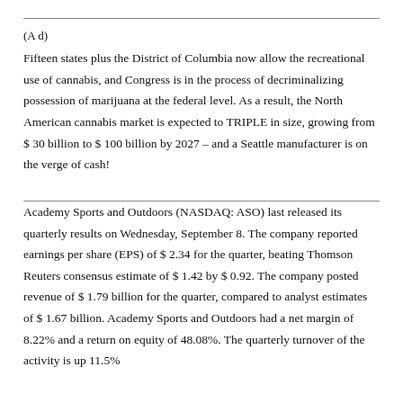(A d)
Fifteen states plus the District of Columbia now allow the recreational use of cannabis, and Congress is in the process of decriminalizing possession of marijuana at the federal level. As a result, the North American cannabis market is expected to TRIPLE in size, growing from $ 30 billion to $ 100 billion by 2027 – and a Seattle manufacturer is on the verge of cash!
Academy Sports and Outdoors (NASDAQ: ASO) last released its quarterly results on Wednesday, September 8. The company reported earnings per share (EPS) of $ 2.34 for the quarter, beating Thomson Reuters consensus estimate of $ 1.42 by $ 0.92. The company posted revenue of $ 1.79 billion for the quarter, compared to analyst estimates of $ 1.67 billion. Academy Sports and Outdoors had a net margin of 8.22% and a return on equity of 48.08%. The quarterly turnover of the activity is up 11.5%